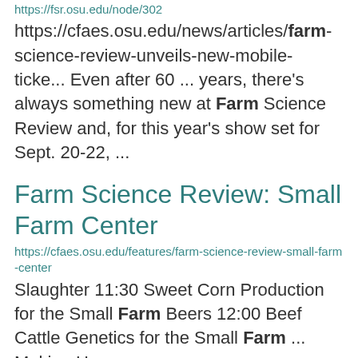https://fsr.osu.edu/node/302
https://cfaes.osu.edu/news/articles/farm-science-review-unveils-new-mobile-ticke... Even after 60 ... years, there's always something new at Farm Science Review and, for this year's show set for Sept. 20-22, ...
Farm Science Review: Small Farm Center
https://cfaes.osu.edu/features/farm-science-review-small-farm-center
Slaughter 11:30 Sweet Corn Production for the Small Farm Beers 12:00 Beef Cattle Genetics for the Small Farm ... Making Hay